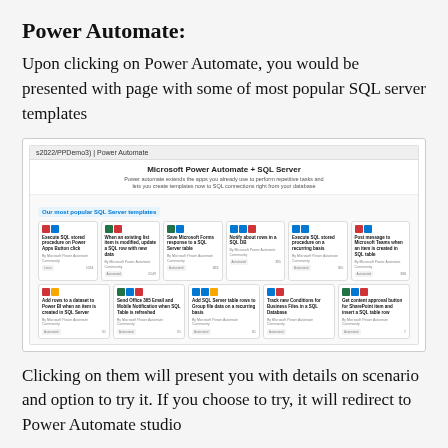Power Automate:
Upon clicking on Power Automate, you would be presented with page with some of most popular SQL server templates
[Figure (screenshot): Screenshot of Microsoft Power Automate + SQL Server page showing popular SQL Server templates as cards in a grid layout, with two rows of template cards each containing colored icons and short descriptions.]
Clicking on them will present you with details on scenario and option to try it. If you choose to try, it will redirect to Power Automate studio